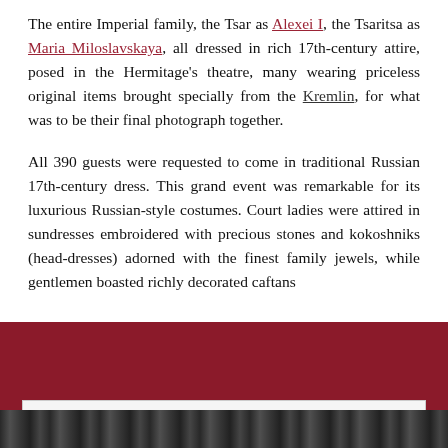The entire Imperial family, the Tsar as Alexei I, the Tsaritsa as Maria Miloslavskaya, all dressed in rich 17th-century attire, posed in the Hermitage's theatre, many wearing priceless original items brought specially from the Kremlin, for what was to be their final photograph together.
All 390 guests were requested to come in traditional Russian 17th-century dress. This grand event was remarkable for its luxurious Russian-style costumes. Court ladies were attired in sundresses embroidered with precious stones and kokoshniks (head-dresses) adorned with the finest family jewels, while gentlemen boasted richly decorated caftans
Privacy & Cookies: This site uses cookies. By continuing to use this website, you agree to their use.
To find out more, including how to control cookies, see here: Cookie Policy
Close and accept
[Figure (photo): Black and white photograph strip showing a group of people in historical costumes]